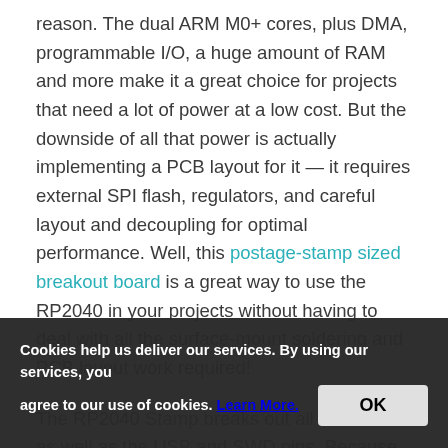reason. The dual ARM M0+ cores, plus DMA, programmable I/O, a huge amount of RAM and more make it a great choice for projects that need a lot of power at a low cost. But the downside of all that power is actually implementing a PCB layout for it — it requires external SPI flash, regulators, and careful layout and decoupling for optimal performance. Well, this postage-stamp sized breakout board is a great way to use the RP2040 in your projects without having to deal with all the surface-mount soldering and PCB layout work required!
The RP2040 Stamp breaks out all the GPIO, as well as the USB and SWD pins. Because the Stamp is on castellated pads, it can be directly soldered to an existing PCB without needing a socket or breakout, which helps reduce the size and still allow 2mm
Cookies help us deliver our services. By using our services, you agree to our use of cookies. Learn More. OK